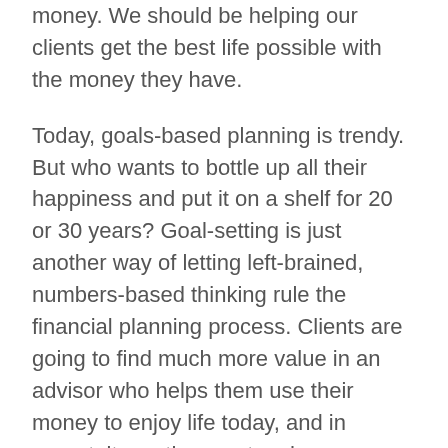money. We should be helping our clients get the best life possible with the money they have.
Today, goals-based planning is trendy. But who wants to bottle up all their happiness and put it on a shelf for 20 or 30 years? Goal-setting is just another way of letting left-brained, numbers-based thinking rule the financial planning process. Clients are going to find much more value in an advisor who helps them use their money to enjoy life today, and in perpetuity on the way to a happy